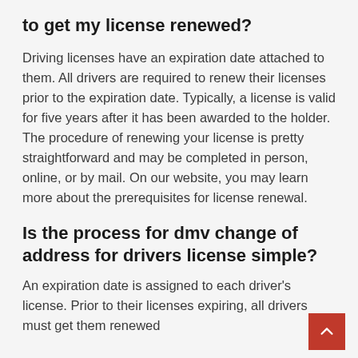to get my license renewed?
Driving licenses have an expiration date attached to them. All drivers are required to renew their licenses prior to the expiration date. Typically, a license is valid for five years after it has been awarded to the holder. The procedure of renewing your license is pretty straightforward and may be completed in person, online, or by mail. On our website, you may learn more about the prerequisites for license renewal.
Is the process for dmv change of address for drivers license simple?
An expiration date is assigned to each driver's license. Prior to their licenses expiring, all drivers must get them renewed.